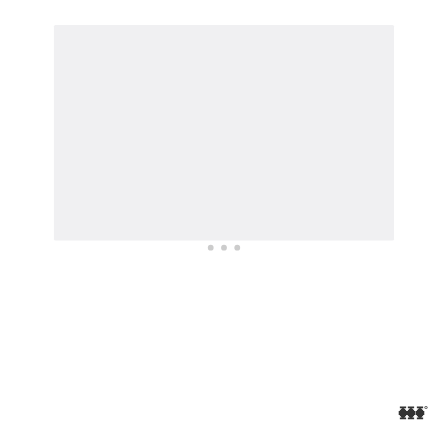[Figure (photo): Large image area at top of blog post, appears blank/loading with light gray background and three small dots indicating image carousel]
[Figure (other): Teal circular like/heart button with count of 10, and a share button below it on the right side]
You just want to prepare a meal that the entire family will enjoy... you know what I'm talkin' about ... kind of dinner that everyone loves and has no idea they're eating healthy (not even you!!).
[Figure (other): WHAT'S NEXT arrow label with circular food photo thumbnail and 'Blog' label]
Ⅲ°